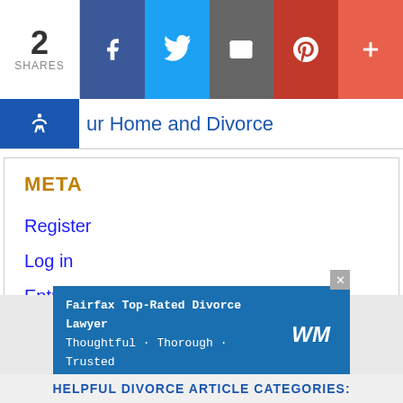2 SHARES | Facebook | Twitter | Email | Pinterest | More
ur Home and Divorce
META
Register
Log in
Entries feed
Comments feed
WordPress.org
[Figure (infographic): Advertisement banner: Fairfax Top-Rated Divorce Lawyer. Thoughtful • Thorough • Trusted. WM logo.]
HELPFUL DIVORCE ARTICLE CATEGORIES: